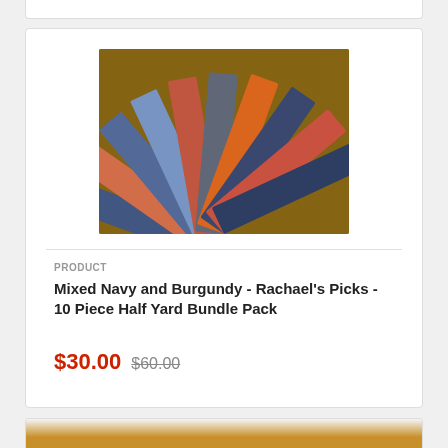[Figure (photo): Fan-shaped arrangement of mixed navy and burgundy/orange patterned fabric pieces spread out on a wooden surface]
PRODUCT
Mixed Navy and Burgundy - Rachael's Picks - 10 Piece Half Yard Bundle Pack
$30.00 $60.00